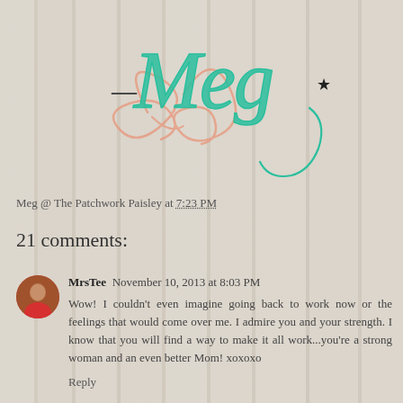[Figure (illustration): Decorative signature graphic showing '- Meg★' in teal/turquoise cursive script with a coral/pink decorative swirl flourish in the background, on a light wood-grain textured background]
Meg @ The Patchwork Paisley at 7:23 PM
21 comments:
MrsTee  November 10, 2013 at 8:03 PM
Wow! I couldn't even imagine going back to work now or the feelings that would come over me. I admire you and your strength. I know that you will find a way to make it all work...you're a strong woman and an even better Mom! xoxoxo
Reply